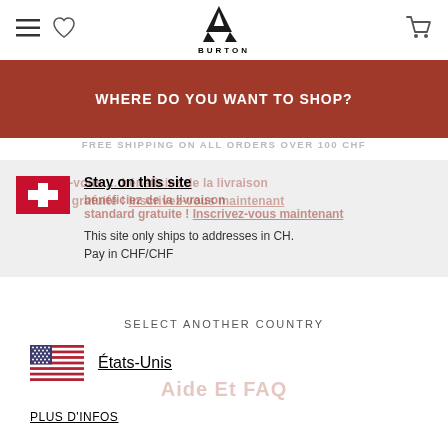[Figure (logo): Burton mountain logo with text BURTON]
WHERE DO YOU WANT TO SHOP?
FREE SHIPPING ON ALL ORDERS OVER 100 CHF
Inscrivez-vous … bénéficiez de la livraison standard gratuite ! Inscrivez-vous maintenant
Stay on this site
This site only ships to addresses in CH.
Pay in CHF/CHF
SELECT ANOTHER COUNTRY
États-Unis
Aide Et FAQ
PLUS D'INFOS